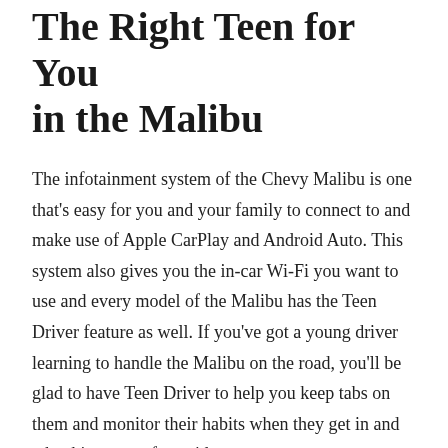The Right Teen for You in the Malibu
The infotainment system of the Chevy Malibu is one that's easy for you and your family to connect to and make use of Apple CarPlay and Android Auto. This system also gives you the in-car Wi-Fi you want to use and every model of the Malibu has the Teen Driver feature as well. If you've got a young driver learning to handle the Malibu on the road, you'll be glad to have Teen Driver to help you keep tabs on them and monitor their habits when they get in and take this car out for a ride.
Find the Right Chevy